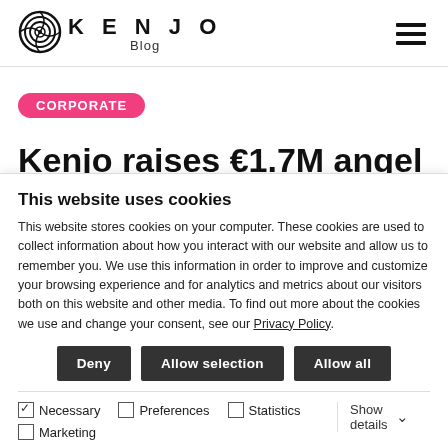KENJO Blog
CORPORATE
Kenjo raises €1.7M angel
This website uses cookies
This website stores cookies on your computer. These cookies are used to collect information about how you interact with our website and allow us to remember you. We use this information in order to improve and customize your browsing experience and for analytics and metrics about our visitors both on this website and other media. To find out more about the cookies we use and change your consent, see our Privacy Policy.
Deny | Allow selection | Allow all
Necessary | Preferences | Statistics | Marketing | Show details